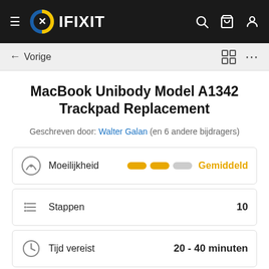IFIXIT
MacBook Unibody Model A1342 Trackpad Replacement
Geschreven door: Walter Galan (en 6 andere bijdragers)
Moeilijkheid — Gemiddeld
Stappen — 10
Tijd vereist — 20 - 40 minuten